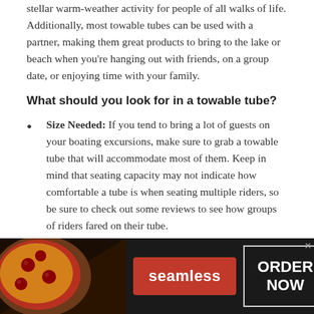stellar warm-weather activity for people of all walks of life. Additionally, most towable tubes can be used with a partner, making them great products to bring to the lake or beach when you're hanging out with friends, on a group date, or enjoying time with your family.
What should you look for in a towable tube?
Size Needed: If you tend to bring a lot of guests on your boating excursions, make sure to grab a towable tube that will accommodate most of them. Keep in mind that seating capacity may not indicate how comfortable a tube is when seating multiple riders, so be sure to check out some reviews to see how groups of riders fared on their tube.
Intended Use: Tricksters will want a tube with lots...
[Figure (other): Seamless food delivery advertisement banner at bottom of page. Shows pizza image on left, red Seamless button in center, and ORDER NOW button on right against dark background.]